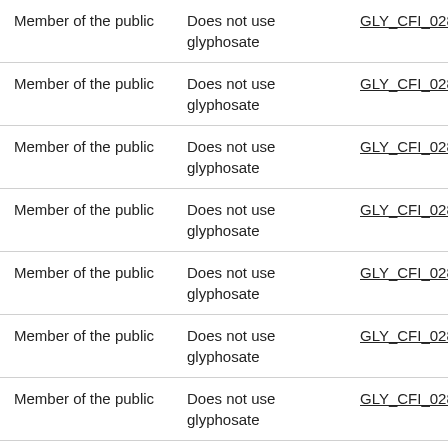| Member of the public | Does not use glyphosate | GLY_CFI_0281_MO |
| Member of the public | Does not use glyphosate | GLY_CFI_0282_SBe |
| Member of the public | Does not use glyphosate | GLY_CFI_0283_MO |
| Member of the public | Does not use glyphosate | GLY_CFI_0284_MO |
| Member of the public | Does not use glyphosate | GLY_CFI_0285_MO |
| Member of the public | Does not use glyphosate | GLY_CFI_0286_CSe |
| Member of the public | Does not use glyphosate | GLY_CFI_0287_CMe |
| Member of the public | Does not use | GLY_CFI_0288_MO |